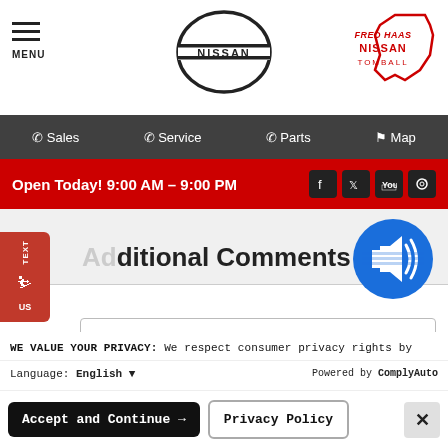[Figure (screenshot): Website header with hamburger menu icon labeled MENU on the left, Nissan circle logo in the center, and Fred Haas Nissan Tomball logo in red on the right]
[Figure (screenshot): Dark gray navigation bar with phone icons for Sales, Service, Parts, and map pin icon for Map]
[Figure (screenshot): Red banner showing Open Today! 9:00 AM - 9:00 PM with Facebook, Twitter, YouTube, and Instagram social media icons on the right]
Additional Comments
[Figure (illustration): Blue circular audio/speaker icon with horizontal lines and sound waves]
WE VALUE YOUR PRIVACY: We respect consumer privacy rights by letting visitors opt out of third-party tracking cookies and honoring user-enabled global privacy controls, like the GPC signal. This site deploys cookies and similar tracking technologies to build profiles, serve ads, and personalize your experience across websites. By pressing accept, you consent to the use of such cookies. To manage your privacy rights or view the categories of personal information we collect and the purposes for which the information is used, click here.
Language: English
Powered by ComplyAuto
Accept and Continue →
Privacy Policy
×